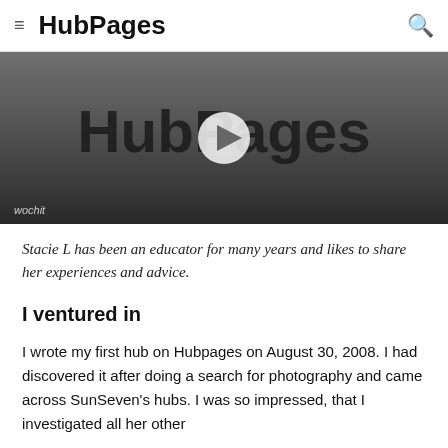≡ HubPages
[Figure (screenshot): Video thumbnail showing HubPages logo in dark gray background with a play button in the center and 'wochit' watermark in lower left]
Stacie L has been an educator for many years and likes to share her experiences and advice.
I ventured in
I wrote my first hub on Hubpages on August 30, 2008. I had discovered it after doing a search for photography and came across SunSeven's hubs. I was so impressed, that I investigated all her other